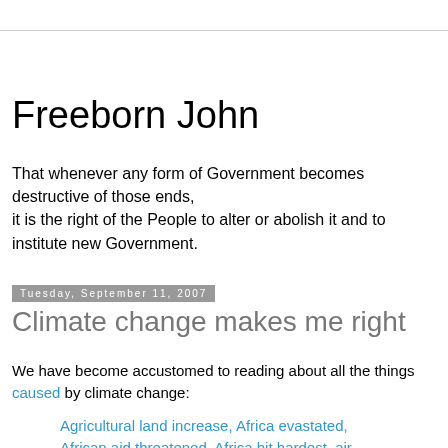Freeborn John
That whenever any form of Government becomes destructive of those ends,
it is the right of the People to alter or abolish it and to institute new Government.
Tuesday, September 11, 2007
Climate change makes me right
We have become accustomed to reading about all the things caused by climate change:
Agricultural land increase, Africa evastated, African aid threatened, Africa hit hardest, air pressure changes, Alaska